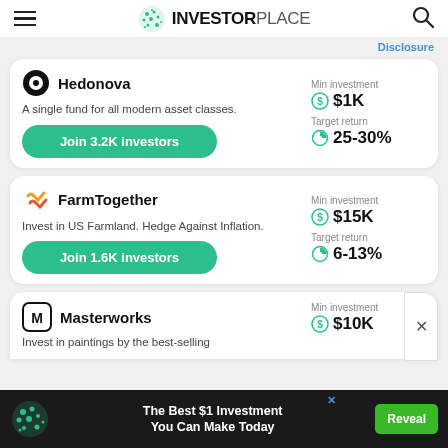INVESTORPLACE
Disclosure
Hedonova — A single fund for all modern asset classes. Join 3.2K investors. Min investment $1K. Target return 25-30%
FarmTogether — Invest in US Farmland. Hedge Against Inflation. Join 1.6K investors. Min investment $15K. Target return 6-13%
Masterworks — Invest in paintings by the best-selling. Min investment $10K
The Best $1 Investment You Can Make Today — Reveal